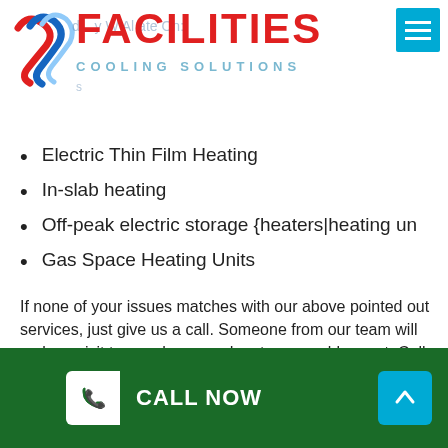[Figure (logo): Facilities Cooling Solutions logo with red FACILITIES text, blue/red wave icon, and light blue COOLING SOLUTIONS subtitle]
Electric Thin Film Heating
In-slab heating
Off-peak electric storage {heaters|heating un
Gas Space Heating Units
If none of your issues matches with our above pointed out services, just give us a call. Someone from our team will make a visit to your home and sort your problem out. Call us today!
[Figure (photo): Broken image placeholder with alt text: heater repair Ascot Vale]
Our Heating System Repair Work Process